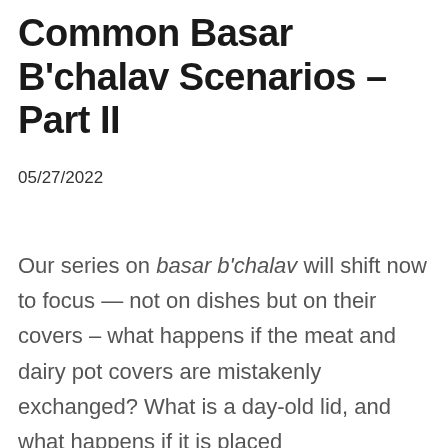Common Basar B'chalav Scenarios – Part II
05/27/2022
Our series on basar b'chalav will shift now to focus — not on dishes but on their covers – what happens if the meat and dairy pot covers are mistakenly exchanged? What is a day-old lid, and what happens if it is placed